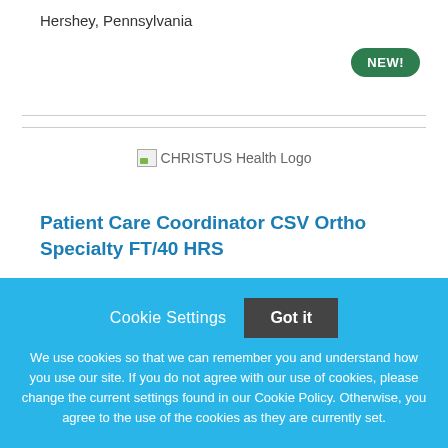Hershey, Pennsylvania
[Figure (logo): CHRISTUS Health Logo placeholder image]
Patient Care Coordinator CSV Ortho Specialty FT/40 HRS
Cookie Settings  Got it
We use cookies so that we can remember you and understand how you use our site. If you do not agree with our use of cookies, please change the current settings found in our Cookie Policy. Otherwise, you agree to the use of the cookies as they are currently set.